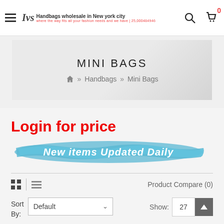IVS Handbags wholesale in New york city
MINI BAGS
» Handbags » Mini Bags
Login for price
New items Updated Daily
Product Compare (0)
Sort By: Default | Show: 27